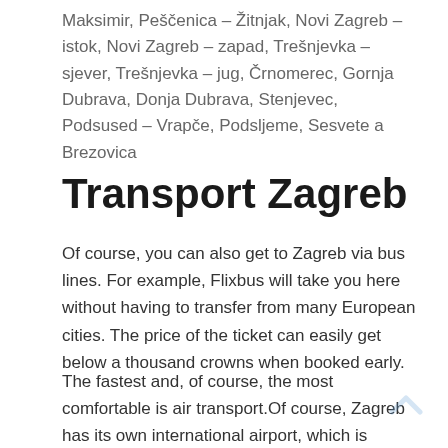Maksimir, Peščenica – Žitnjak, Novi Zagreb – istok, Novi Zagreb – zapad, Trešnjevka – sjever, Trešnjevka – jug, Črnomerec, Gornja Dubrava, Donja Dubrava, Stenjevec, Podsused – Vrapče, Podsljeme, Sesvete a Brezovica
Transport Zagreb
Of course, you can also get to Zagreb via bus lines. For example, Flixbus will take you here without having to transfer from many European cities. The price of the ticket can easily get below a thousand crowns when booked early.
The fastest and, of course, the most comfortable is air transport.Of course, Zagreb has its own international airport, which is located about 10 kilometers from the center.